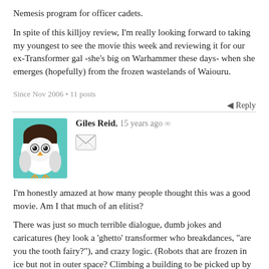Nemesis program for officer cadets.
In spite of this killjoy review, I'm really looking forward to taking my youngest to see the movie this week and reviewing it for our ex-Transformer gal -she's big on Warhammer these days- when she emerges (hopefully) from the frozen wastelands of Waiouru.
Since Nov 2006 • 11 posts
Reply
[Figure (illustration): Owl avatar icon with teal background for user Giles Reid]
Giles Reid, 15 years ago ∞
I'm honestly amazed at how many people thought this was a good movie. Am I that much of an elitist?
There was just so much terrible dialogue, dumb jokes and caricatures (hey look a 'ghetto' transformer who breakdances, "are you the tooth fairy?"), and crazy logic. (Robots that are frozen in ice but not in outer space? Climbing a building to be picked up by helicopters when your enemies are